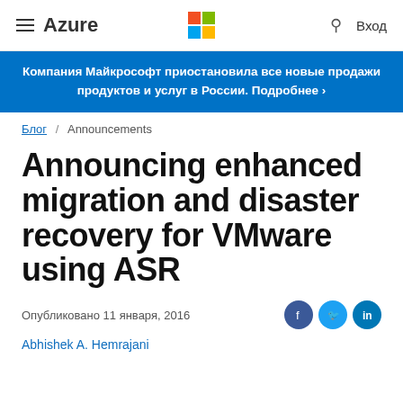Azure
Компания Майкрософт приостановила все новые продажи продуктов и услуг в России. Подробнее ›
Блог / Announcements
Announcing enhanced migration and disaster recovery for VMware using ASR
Опубликовано 11 января, 2016
Abhishek A. Hemrajani